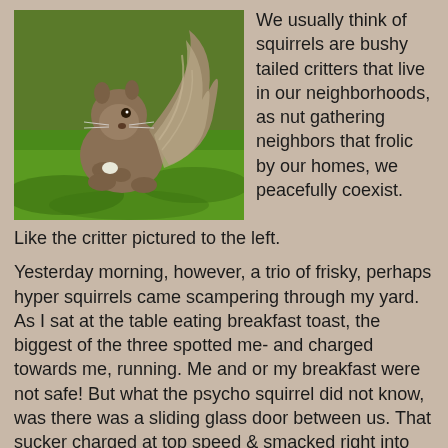[Figure (photo): A gray squirrel sitting on green grass, holding something in its front paws, with a bushy tail raised behind it.]
We usually think of squirrels are bushy tailed critters that live in our neighborhoods, as nut gathering neighbors that frolic by our homes, we peacefully coexist.
Like the critter pictured to the left.
Yesterday morning, however, a trio of frisky, perhaps hyper squirrels came scampering through my yard. As I sat at the table eating breakfast toast, the biggest of the three spotted me- and charged towards me, running. Me and or my breakfast were not safe! But what the psycho squirrel did not know, was there was a sliding glass door between us. That sucker charged at top speed & smacked right into the glass! Oh if only I had film footage of this incident.
It's squirrel face was pushed right up to the glass & kind of